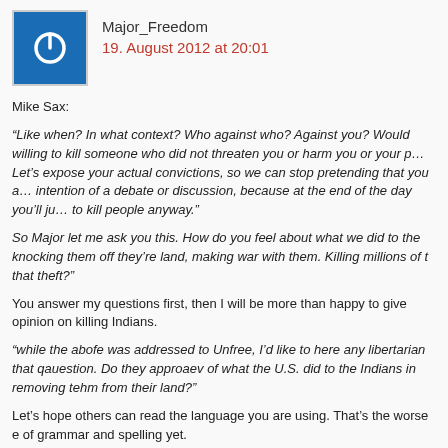Major_Freedom
19. August 2012 at 20:01
Mike Sax:
“Like when? In what context? Who against who? Against you? Would willing to kill someone who did not threaten you or harm you or your p… Let’s expose your actual convictions, so we can stop pretending that you a… intention of a debate or discussion, because at the end of the day you’ll ju… to kill people anyway.”
So Major let me ask you this. How do you feel about what we did to the… knocking them off they’re land, making war with them. Killing millions of t… that theft?"
You answer my questions first, then I will be more than happy to give… opinion on killing Indians.
“while the abofe was addressed to Unfree, I’d like to here any libertarian… that qauestion. Do they approaev of what the U.S. did to the Indians in… removing tehm from their land?"
Let’s hope others can read the language you are using. That’s the worse e… of grammar and spelling yet.
“No, I don’t want to protect abusive parents. Not wanting the state to do… not mean I am against everyone doing X.”